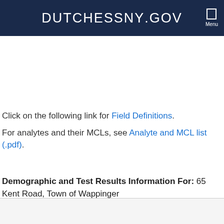DUTCHESSNY.GOV
Click on the following link for Field Definitions.
For analytes and their MCLs, see Analyte and MCL list (.pdf).
Demographic and Test Results Information For: 65 Kent Road, Town of Wappinger
Parcel Number: 135689-6258-03-493059